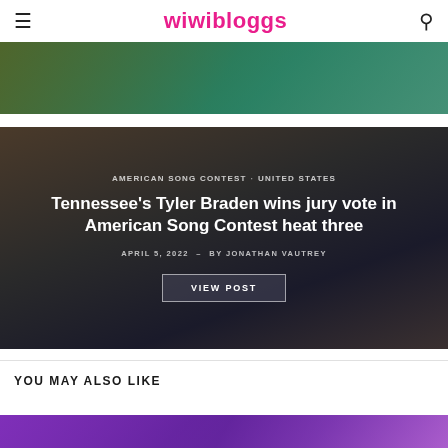wiwibloggs
[Figure (photo): Top image strip showing a performer with colorful background]
AMERICAN SONG CONTEST · UNITED STATES
Tennessee's Tyler Braden wins jury vote in American Song Contest heat three
APRIL 5, 2022 – BY JONATHAN VAUTREY
VIEW POST
YOU MAY ALSO LIKE
[Figure (photo): Bottom thumbnail strip showing a performer]